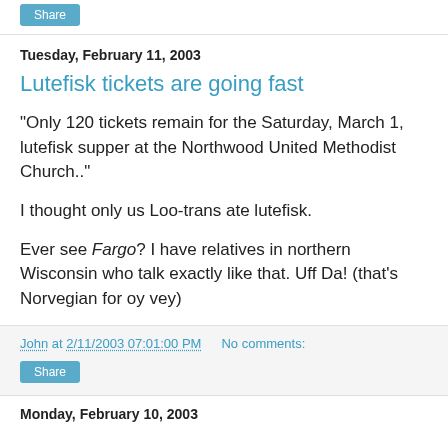Share
Tuesday, February 11, 2003
Lutefisk tickets are going fast
"Only 120 tickets remain for the Saturday, March 1, lutefisk supper at the Northwood United Methodist Church.."
I thought only us Loo-trans ate lutefisk.
Ever see Fargo? I have relatives in northern Wisconsin who talk exactly like that. Uff Da! (that's Norvegian for oy vey)
John at 2/11/2003 07:01:00 PM   No comments:
Share
Monday, February 10, 2003